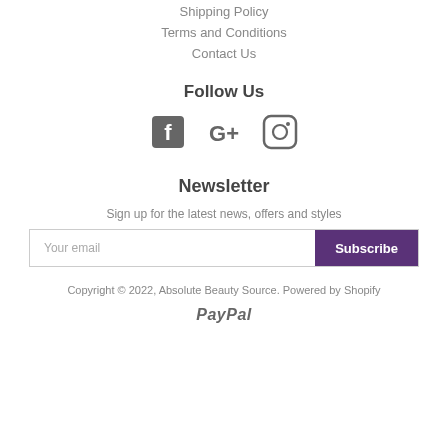Shipping Policy
Terms and Conditions
Contact Us
Follow Us
[Figure (infographic): Social media icons: Facebook, Google+, Instagram]
Newsletter
Sign up for the latest news, offers and styles
Your email / Subscribe button
Copyright © 2022, Absolute Beauty Source. Powered by Shopify
[Figure (logo): PayPal logo]